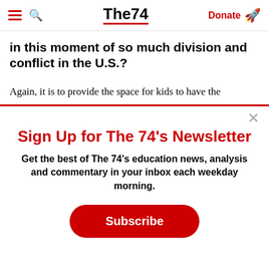The74 — Donate
in this moment of so much division and conflict in the U.S.?
Again, it is to provide the space for kids to have the
Sign Up for The 74's Newsletter
Get the best of The 74's education news, analysis and commentary in your inbox each weekday morning.
Subscribe